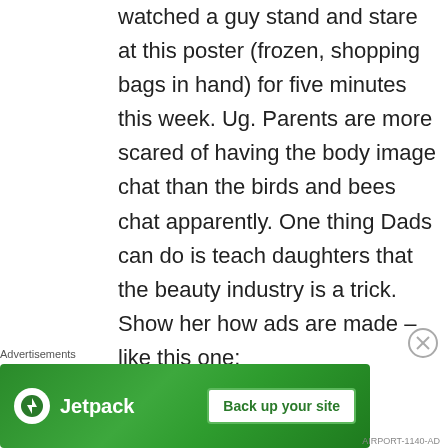watched a guy stand and stare at this poster (frozen, shopping bags in hand) for five minutes this week. Ug. Parents are more scared of having the body image chat than the birds and bees chat apparently. One thing Dads can do is teach daughters that the beauty industry is a trick. Show her how ads are made – like this one:
Advertisements
[Figure (other): Jetpack advertisement banner with green background, Jetpack logo, and 'Back up your site' button]